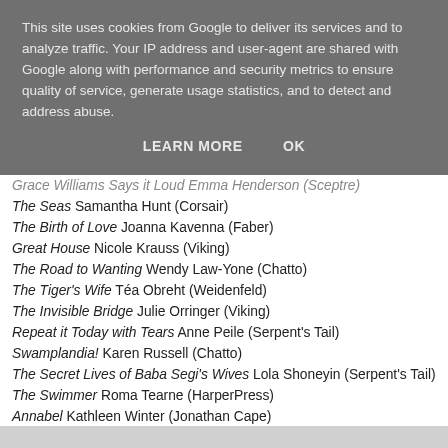This site uses cookies from Google to deliver its services and to analyze traffic. Your IP address and user-agent are shared with Google along with performance and security metrics to ensure quality of service, generate usage statistics, and to detect and address abuse.
LEARN MORE   OK
Grace Williams Says it Loud Emma Henderson (Sceptre)
The Seas Samantha Hunt (Corsair)
The Birth of Love Joanna Kavenna (Faber)
Great House Nicole Krauss (Viking)
The Road to Wanting Wendy Law-Yone (Chatto)
The Tiger's Wife Téa Obreht (Weidenfeld)
The Invisible Bridge Julie Orringer (Viking)
Repeat it Today with Tears Anne Peile (Serpent's Tail)
Swamplandia! Karen Russell (Chatto)
The Secret Lives of Baba Segi's Wives Lola Shoneyin (Serpent's Tail)
The Swimmer Roma Tearne (HarperPress)
Annabel Kathleen Winter (Jonathan Cape)